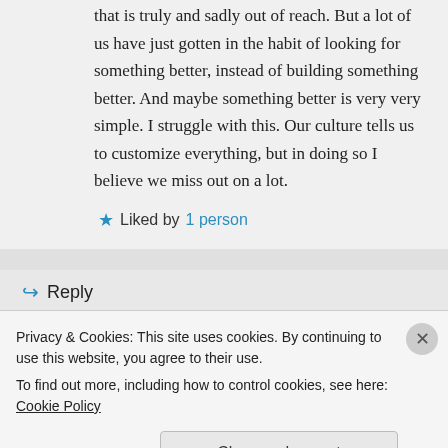that is truly and sadly out of reach. But a lot of us have just gotten in the habit of looking for something better, instead of building something better. And maybe something better is very very simple. I struggle with this. Our culture tells us to customize everything, but in doing so I believe we miss out on a lot.
★ Liked by 1 person
↪ Reply
Privacy & Cookies: This site uses cookies. By continuing to use this website, you agree to their use.
To find out more, including how to control cookies, see here: Cookie Policy